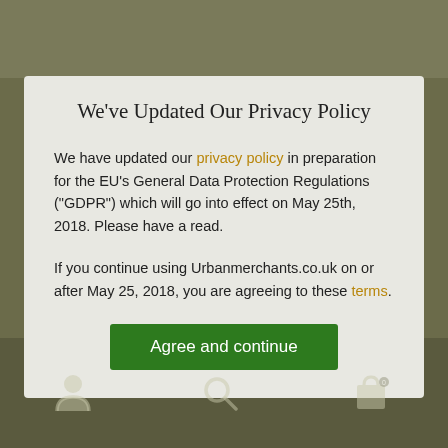We've Updated Our Privacy Policy
We have updated our privacy policy in preparation for the EU's General Data Protection Regulations ("GDPR") which will go into effect on May 25th, 2018. Please have a read.
If you continue using Urbanmerchants.co.uk on or after May 25, 2018, you are agreeing to these terms.
Agree and continue